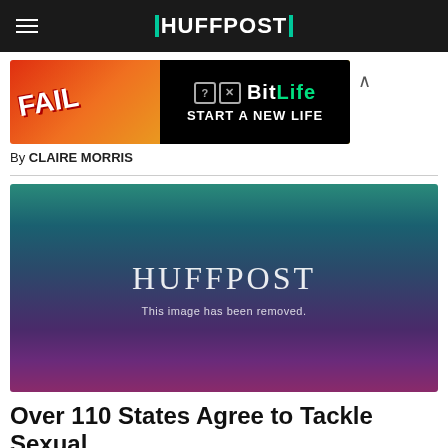HUFFPOST
[Figure (photo): BitLife advertisement banner: FAIL text with cartoon character, flame graphics, and BitLife logo with 'START A NEW LIFE' tagline on black background]
By CLAIRE MORRIS
[Figure (photo): HuffPost placeholder image with teal-to-purple gradient overlay showing blurred crowd of people running. Text reads: HUFFPOST / This image has been removed.]
Over 110 States Agree to Tackle Sexual